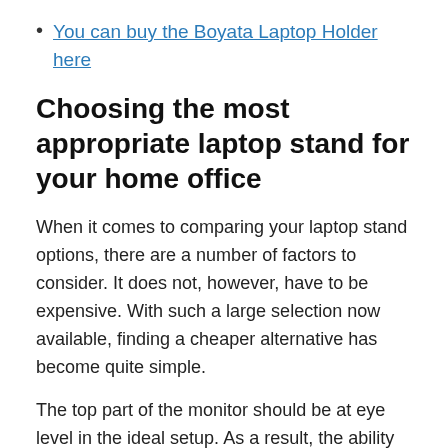You can buy the Boyata Laptop Holder here
Choosing the most appropriate laptop stand for your home office
When it comes to comparing your laptop stand options, there are a number of factors to consider. It does not, however, have to be expensive. With such a large selection now available, finding a cheaper alternative has become quite simple.
The top part of the monitor should be at eye level in the ideal setup. As a result, the ability to hold up your laptop's position to accommodate